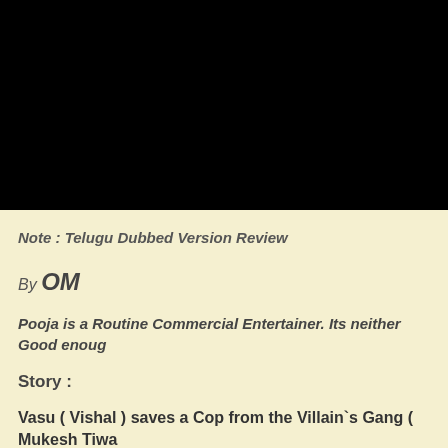[Figure (photo): Black rectangular image occupying the top portion of the page]
Note : Telugu Dubbed Version Review
By OM
Pooja is a Routine Commercial Entertainer. Its neither Good enoug
Story :
Vasu ( Vishal ) saves a Cop from the Villain`s Gang ( Mukesh Tiwa